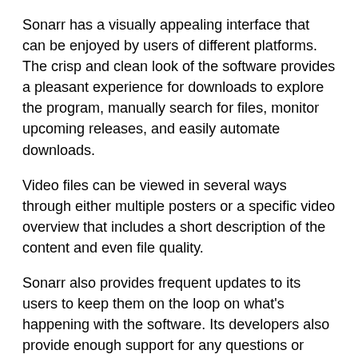Sonarr has a visually appealing interface that can be enjoyed by users of different platforms. The crisp and clean look of the software provides a pleasant experience for downloads to explore the program, manually search for files, monitor upcoming releases, and easily automate downloads.
Video files can be viewed in several ways through either multiple posters or a specific video overview that includes a short description of the content and even file quality.
Sonarr also provides frequent updates to its users to keep them on the loop on what's happening with the software. Its developers also provide enough support for any questions or queries. The Sonarr wiki page is especially helpful for new users and even for veterans who have troubleshooting questions.
You can also explore other means for support like their